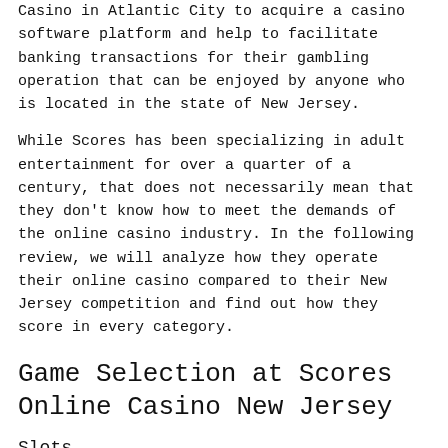Casino in Atlantic City to acquire a casino software platform and help to facilitate banking transactions for their gambling operation that can be enjoyed by anyone who is located in the state of New Jersey.
While Scores has been specializing in adult entertainment for over a quarter of a century, that does not necessarily mean that they don't know how to meet the demands of the online casino industry. In the following review, we will analyze how they operate their online casino compared to their New Jersey competition and find out how they score in every category.
Game Selection at Scores Online Casino New Jersey
Slots
If you like slot games then Scores is certainly a casino that you will want to consider signing up for